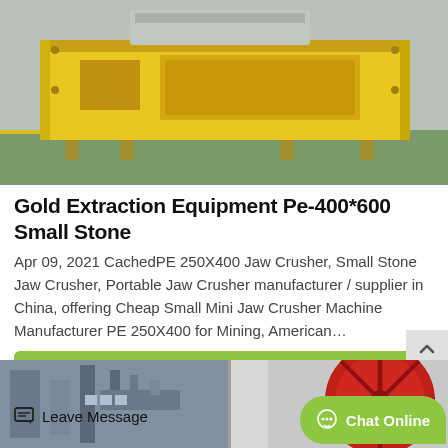[Figure (photo): Yellow jaw crusher machine (PE-400x600 or similar) sitting on a green floor in an industrial setting. The machine is a heavy yellow metal frame with a hopper at top.]
Gold Extraction Equipment Pe-400*600 Small Stone
Apr 09, 2021 CachedPE 250X400 Jaw Crusher, Small Stone Jaw Crusher, Portable Jaw Crusher manufacturer / supplier in China, offering Cheap Small Mini Jaw Crusher Machine Manufacturer PE 250X400 for Mining, American…
Get Price
[Figure (photo): Industrial machinery photo showing metal structures on the left and a large red wheel/pulley on the right side.]
Leave Message
Chat Online